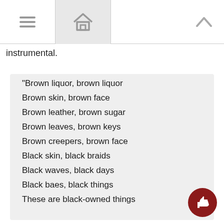[toolbar with menu, home, and up navigation icons]
instrumental.
“Brown liquor, brown liquor
Brown skin, brown face
Brown leather, brown sugar
Brown leaves, brown keys
Brown creepers, brown face
Black skin, black braids
Black waves, black days
Black baes, black things
These are black-owned things